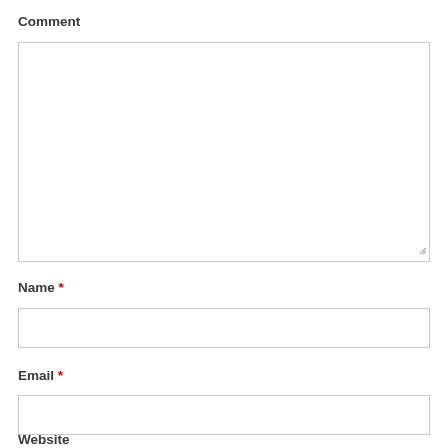Comment
[Figure (other): Large empty textarea input box for comment entry with resize handle at bottom-right]
Name *
[Figure (other): Single-line text input box for Name field]
Email *
[Figure (other): Single-line text input box for Email field]
Website